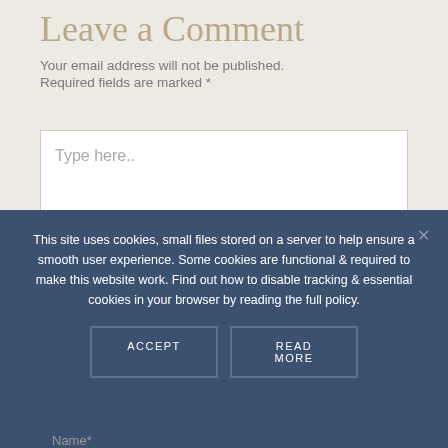Leave a Comment
Your email address will not be published.
Required fields are marked *
[Figure (screenshot): Text area input box with placeholder text 'Type here..']
This site uses cookies, small files stored on a server to help ensure a smooth user experience. Some cookies are functional & required to make this website work. Find out how to disable tracking & essential cookies in your browser by reading the full policy.
ACCEPT
READ MORE
Name*